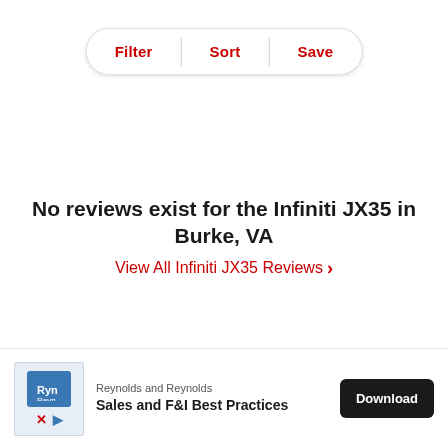[Figure (screenshot): Filter/Sort/Save button bar with three pill-shaped options separated by vertical dividers]
No reviews exist for the Infiniti JX35 in Burke, VA
View All Infiniti JX35 Reviews >
[Figure (screenshot): Advertisement banner: Reynolds and Reynolds - Sales and F&I Best Practices with Download button]